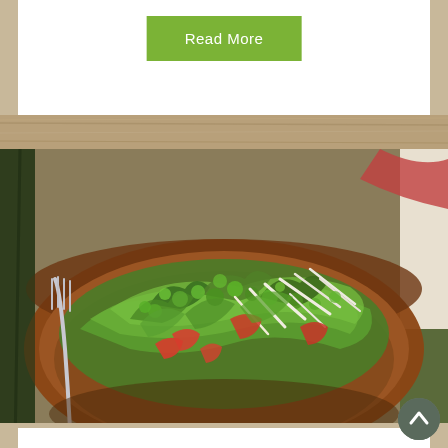[Figure (photo): Green salad in a brown wooden bowl with tomato pieces, bean sprouts, and mixed greens, with a fork visible on the left side]
Read More